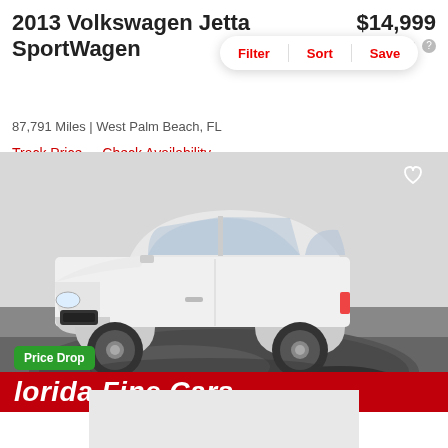2013 Volkswagen Jetta SportWagen
$14,999
est. $216/mo
87,791 Miles | West Palm Beach, FL
Track Price
Check Availability
[Figure (photo): White Subaru Impreza hatchback on a rotating showroom turntable, with a 'Price Drop' badge in the lower left and a red 'Florida Fine Cars' dealer banner at the bottom.]